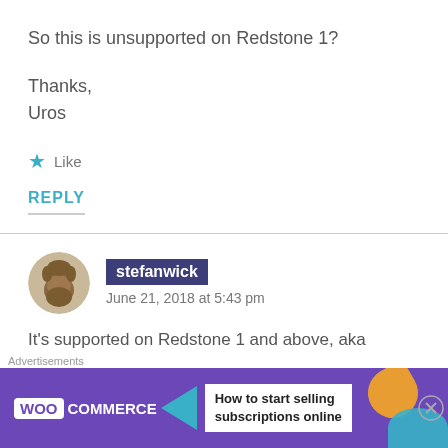So this is unsupported on Redstone 1?
Thanks,
Uros
Like
REPLY
stefanwick
June 21, 2018 at 5:43 pm
It's supported on Redstone 1 and above, aka Windows 10 version 1607 (build 14393) and above
Advertisements
[Figure (illustration): WooCommerce advertisement banner with purple background, WOO COMMERCE logo, teal arrow, and text 'How to start selling subscriptions online']